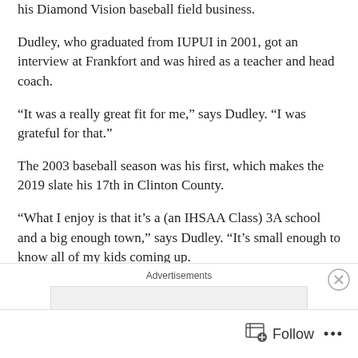his Diamond Vision baseball field business.
Dudley, who graduated from IUPUI in 2001, got an interview at Frankfort and was hired as a teacher and head coach.
“It was a really great fit for me,” says Dudley. “I was grateful for that.”
The 2003 baseball season was his first, which makes the 2019 slate his 17th in Clinton County.
“What I enjoy is that it’s a (an IHSAA Class) 3A school and a big enough town,” says Dudley. “It’s small enough to know all of my kids coming up.
Advertisements
Follow ...